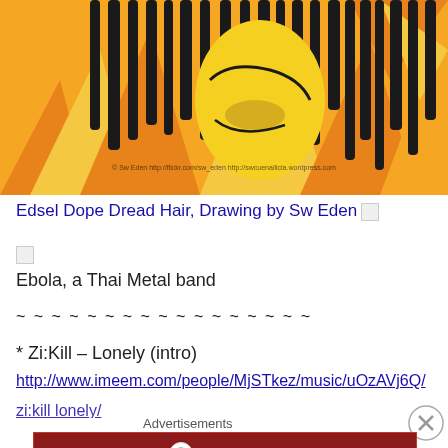[Figure (illustration): Colorful comic-style illustration of a figure with dreadlock hair against orange and yellow flame background, watermark text: © Sw Eden http://flickr.com/sw_eden http://swcuenailicia.wordpress.com]
Edsel Dope Dread Hair, Drawing by Sw Eden
[Figure (photo): Small broken/missing image placeholder]
Ebola, a Thai Metal band
~ ~ ~ ~ ~ ~ ~ ~ ~ ~ ~ ~ ~ ~ ~ ~ ~
* Zi:Kill – Lonely (intro)
http://www.imeem.com/people/MjSTkez/music/uOzAVj6Q/
Advertisements
[Figure (screenshot): Longreads advertisement banner — red background with Longreads logo and text: The best stories on the web — ours, and everyone else's.]